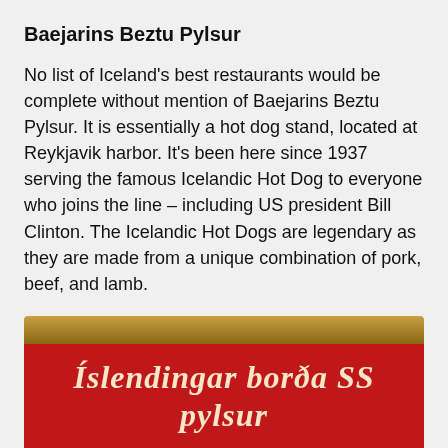Baejarins Beztu Pylsur
No list of Iceland’s best restaurants would be complete without mention of Baejarins Beztu Pylsur. It is essentially a hot dog stand, located at Reykjavik harbor. It’s been here since 1937 serving the famous Icelandic Hot Dog to everyone who joins the line – including US president Bill Clinton. The Icelandic Hot Dogs are legendary as they are made from a unique combination of pork, beef, and lamb.
[Figure (photo): Red sign for Baejarins Beztu Pylsur hot dog stand showing the text 'Íslendingar borða SS pylsur' in cream italic letters on a red background]